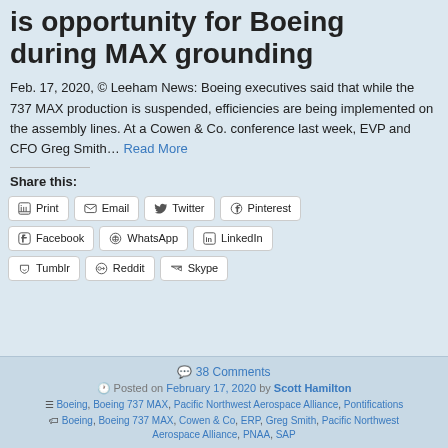is opportunity for Boeing during MAX grounding
Feb. 17, 2020, © Leeham News: Boeing executives said that while the 737 MAX production is suspended, efficiencies are being implemented on the assembly lines. At a Cowen & Co. conference last week, EVP and CFO Greg Smith… Read More
Share this:
Print
Email
Twitter
Pinterest
Facebook
WhatsApp
LinkedIn
Tumblr
Reddit
Skype
38 Comments | Posted on February 17, 2020 by Scott Hamilton | Boeing, Boeing 737 MAX, Pacific Northwest Aerospace Alliance, Pontifications | Boeing, Boeing 737 MAX, Cowen & Co, ERP, Greg Smith, Pacific Northwest Aerospace Alliance, PNAA, SAP